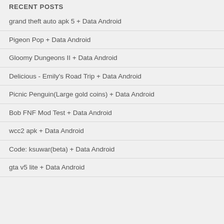RECENT POSTS
grand theft auto apk 5 + Data Android
Pigeon Pop + Data Android
Gloomy Dungeons II + Data Android
Delicious - Emily's Road Trip + Data Android
Picnic Penguin(Large gold coins) + Data Android
Bob FNF Mod Test + Data Android
wcc2 apk + Data Android
Code: ksuwar(beta) + Data Android
gta v5 lite + Data Android